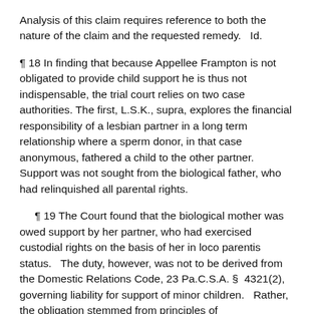Analysis of this claim requires reference to both the nature of the claim and the requested remedy.   Id.
¶ 18 In finding that because Appellee Frampton is not obligated to provide child support he is thus not indispensable, the trial court relies on two case authorities. The first, L.S.K., supra, explores the financial responsibility of a lesbian partner in a long term relationship where a sperm donor, in that case anonymous, fathered a child to the other partner.   Support was not sought from the biological father, who had relinquished all parental rights.
¶ 19 The Court found that the biological mother was owed support by her partner, who had exercised custodial rights on the basis of her in loco parentis status.   The duty, however, was not to be derived from the Domestic Relations Code, 23 Pa.C.S.A. §  4321(2), governing liability for support of minor children.   Rather, the obligation stemmed from principles of